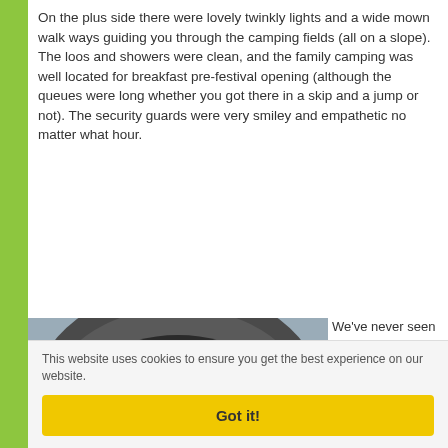On the plus side there were lovely twinkly lights and a wide mown walk ways guiding you through the camping fields (all on a slope). The loos and showers were clean, and the family camping was well located for breakfast pre-festival opening (although the queues were long whether you got there in a skip and a jump or not). The security guards were very smiley and empathetic no matter what hour.
[Figure (photo): Photo of a large outdoor stage with a curved dark roof/canopy structure and metal truss lighting rig. A crowd of people (families, children, adults) stands in front of the stage watching a performance. AEG branding is visible on stage banners. Overcast sky visible at the top.]
We've never seen such long queues for showers so early in the morning (the Big Feastival obviously attracts very clean...
This website uses cookies to ensure you get the best experience on our website.
Got it!